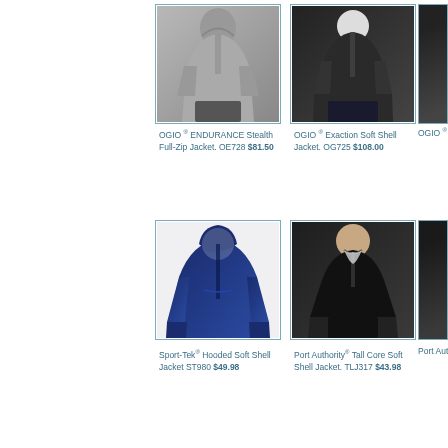[Figure (photo): OGIO ENDURANCE Stealth Full-Zip Jacket in gray, model wearing it]
OGIO ® ENDURANCE Stealth Full-Zip Jacket. OE728 $81.50
[Figure (photo): OGIO Exaction Soft Shell Jacket in black, model wearing it]
OGIO ® Exaction Soft Shell Jacket. OG725 $108.00
[Figure (photo): OGIO Tra... jacket (partial), model wearing it in black]
OGIO ® Tra... OG726 $92...
[Figure (photo): Sport-Tek Hooded Soft Shell Jacket in navy, product shot]
Sport-Tek® Hooded Soft Shell Jacket ST980 $49.98
[Figure (photo): Port Authority Tall Core Soft Shell Jacket in black, model wearing it]
Port Authority® Tall Core Soft Shell Jacket. TLJ317 $43.98
[Figure (photo): Port Authority Textured Soft Shell Jacket (partial), model wearing it]
Port Authority Textured S... Jacket. TLJ... $65.26